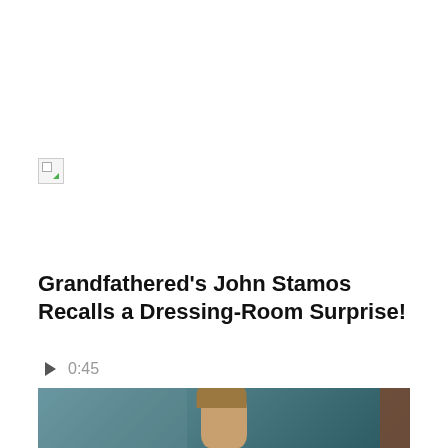[Figure (illustration): Broken/missing image placeholder icon (small document icon with green corner)]
Grandfathered's John Stamos Recalls a Dressing-Room Surprise!
▶ 0:45
[Figure (photo): Partial photo of a man with curly blonde hair, appearing to be in a locker room or similar setting with a chain-link fence and brown door in background]